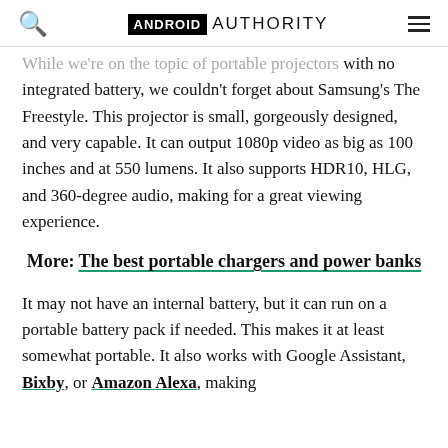ANDROID AUTHORITY
While we're on the topic of portable projectors with no integrated battery, we couldn't forget about Samsung's The Freestyle. This projector is small, gorgeously designed, and very capable. It can output 1080p video as big as 100 inches and at 550 lumens. It also supports HDR10, HLG, and 360-degree audio, making for a great viewing experience.
More: The best portable chargers and power banks
It may not have an internal battery, but it can run on a portable battery pack if needed. This makes it at least somewhat portable. It also works with Google Assistant, Bixby, or Amazon Alexa, making